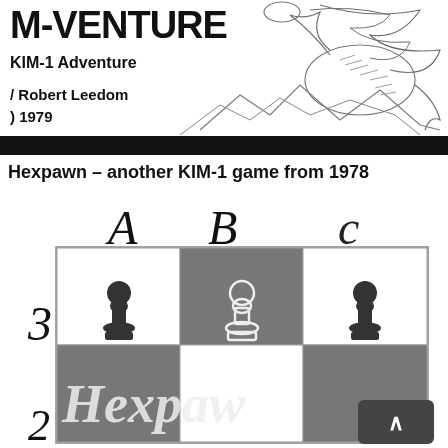[Figure (illustration): Top portion of a book cover for 'KIM-1 Adventure' by Robert Leedom, 1979. Shows text 'M-VENTURE', 'KIM-1 Adventure', 'Robert Leedom', '1979' with a sketch illustration of a dragon or creature, and a black banner at the bottom.]
Hexpawn – another KIM-1 game from 1978
[Figure (illustration): A 3x2 chess board showing a Hexpawn game. Column labels A, B, C at top in large italic script. Row numbers 3 and 2 on the left. Three chess pawns (dark pieces) are shown on row 3 in squares A3, B3, C3. The board has alternating light and dark squares. The bottom row (row 2) shows the Hexpawn logo/text in stylized script. A scroll-up button is visible in the bottom right corner.]